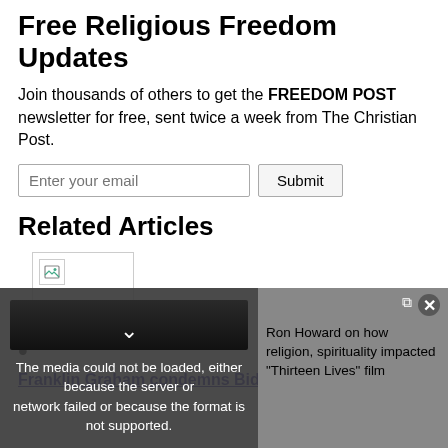Free Religious Freedom Updates
Join thousands of others to get the FREEDOM POST newsletter for free, sent twice a week from The Christian Post.
Enter your email [input] Submit [button]
Related Articles
[Figure (photo): Broken image thumbnail placeholder for a related article]
Franklin Graham condemns Biden's insinuation
[Figure (screenshot): Video overlay showing error: The media could not be loaded, either because the server or network failed or because the format is not supported. Sidebar shows Ron Howard on how religion, spirituality impacted 'Thirteen Lives' film]